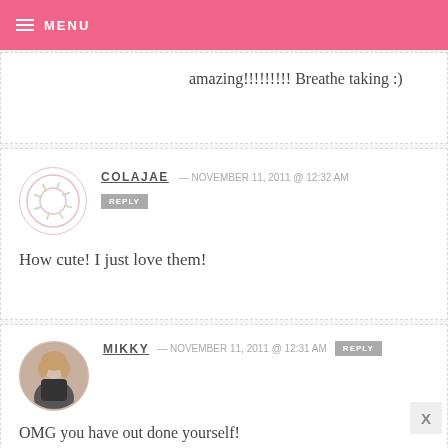MENU
amazing!!!!!!!!! Breathe taking :)
COLAJAE — NOVEMBER 11, 2011 @ 12:32 AM
How cute! I just love them!
MIKKY — NOVEMBER 11, 2011 @ 12:31 AM
OMG you have out done yourself! After looking at each one I would say